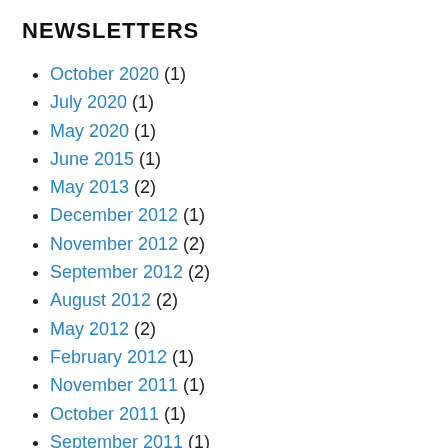NEWSLETTERS
October 2020 (1)
July 2020 (1)
May 2020 (1)
June 2015 (1)
May 2013 (2)
December 2012 (1)
November 2012 (2)
September 2012 (2)
August 2012 (2)
May 2012 (2)
February 2012 (1)
November 2011 (1)
October 2011 (1)
September 2011 (1)